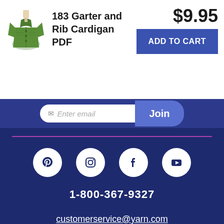183 Garter and Rib Cardigan PDF
$9.95
ADD TO CART
Enter email
Join
[Figure (illustration): Social media icons: Pinterest, Instagram, Facebook, YouTube]
1-800-367-9327
customerservice@yarn.com
About WEBS
Shopping Tools